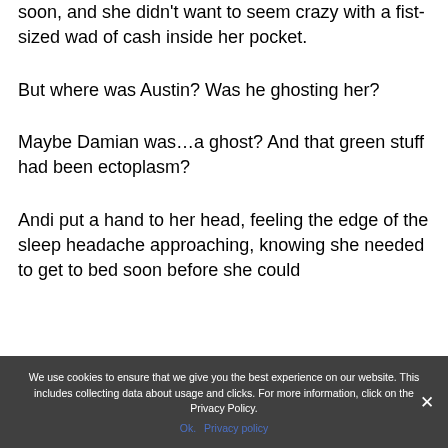soon, and she didn't want to seem crazy with a fist-sized wad of cash inside her pocket.
But where was Austin? Was he ghosting her?
Maybe Damian was…a ghost? And that green stuff had been ectoplasm?
Andi put a hand to her head, feeling the edge of the sleep headache approaching, knowing she needed to get to bed soon before she could
We use cookies to ensure that we give you the best experience on our website. This includes collecting data about usage and clicks. For more information, click on the Privacy Policy.
Ok. Privacy policy